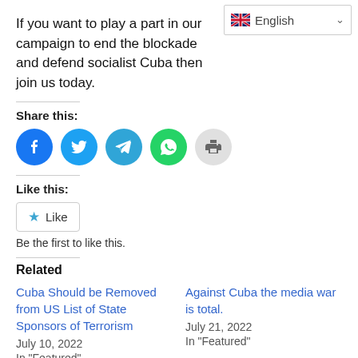[Figure (screenshot): Language selector dropdown showing UK flag and 'English' with a chevron, positioned top right]
If you want to play a part in our campaign to end the blockade and defend socialist Cuba then join us today.
Share this:
[Figure (infographic): Row of social share icons: Facebook (blue), Twitter (blue), Telegram (blue), WhatsApp (green), Print (gray)]
Like this:
[Figure (infographic): Like button with star icon and 'Like' text, followed by 'Be the first to like this.']
Related
Cuba Should be Removed from US List of State Sponsors of Terrorism
July 10, 2022
In "Featured"
Against Cuba the media war is total.
July 21, 2022
In "Featured"